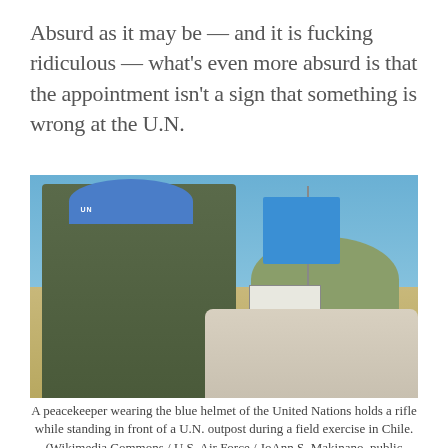Absurd as it may be — and it is fucking ridiculous — what's even more absurd is that the appointment isn't a sign that something is wrong at the U.N.
[Figure (photo): A UN peacekeeper in camouflage uniform and blue UN helmet holding a rifle, standing in front of sandbags with a UN outpost and blue UN flag visible in the background, in an outdoor desert/savanna setting.]
A peacekeeper wearing the blue helmet of the United Nations holds a rifle while standing in front of a U.N. outpost during a field exercise in Chile. (Wikimedia Commons / U.S. Air Force / JoAnn S. Makinano, public domain)